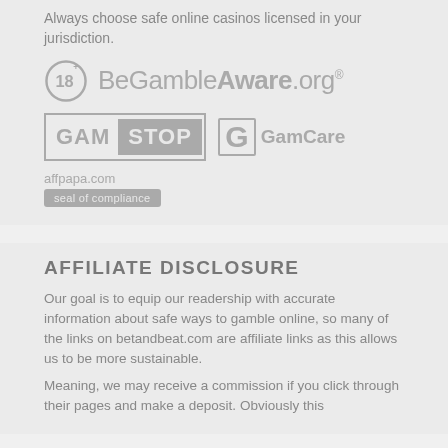Always choose safe online casinos licensed in your jurisdiction.
[Figure (logo): BeGambleAware.org logo with 18+ icon]
[Figure (logo): GamStop and GamCare logos]
[Figure (logo): affpapa.com seal of compliance badge]
AFFILIATE DISCLOSURE
Our goal is to equip our readership with accurate information about safe ways to gamble online, so many of the links on betandbeat.com are affiliate links as this allows us to be more sustainable.
Meaning, we may receive a commission if you click through their pages and make a deposit. Obviously this